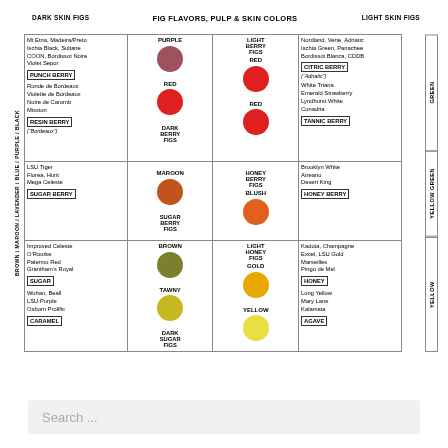FIG FLAVORS, PULP & SKIN COLORS
[Figure (infographic): Chart showing fig flavors, pulp and skin colors organized by dark skin figs (left) and light skin figs (right), with color circles showing pulp color (purple, red, maroon, brown, tawny on dark side; red, red, blush, gold, yellow on light side) and flavor categories in boxes. Left vertical axis: BROWN / MAROON / LAVENDER / BLUE / PURPLE / BLACK. Right vertical axis: GREEN, YELLOW GREEN, YELLOW skin color bands.]
Search ...